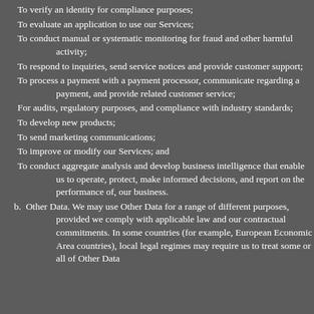To verify an identity for compliance purposes;
To evaluate an application to use our Services;
To conduct manual or systematic monitoring for fraud and other harmful activity;
To respond to inquiries, send service notices and provide customer support;
To process a payment with a payment processor, communicate regarding a payment, and provide related customer service;
For audits, regulatory purposes, and compliance with industry standards;
To develop new products;
To send marketing communications;
To improve or modify our Services; and
To conduct aggregate analysis and develop business intelligence that enable us to operate, protect, make informed decisions, and report on the performance of, our business.
b. Other Data. We may use Other Data for a range of different purposes, provided we comply with applicable law and our contractual commitments. In some countries (for example, European Economic Area countries), local legal regimes may require us to treat some or all of Other Data